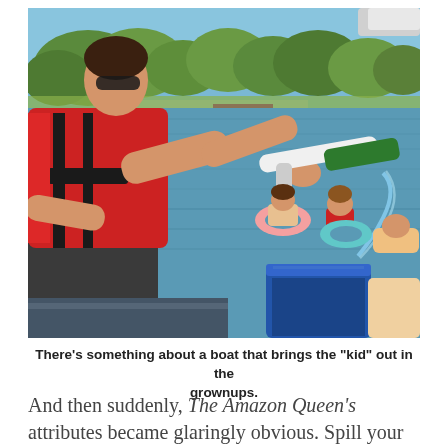[Figure (photo): A man in a red life jacket sitting on a boat, aiming a large water gun (green/white) toward children floating on inflatable tubes in a lake. Trees and shoreline visible in the background. A blue cooler is visible in the foreground right.]
There's something about a boat that brings the "kid" out in the grownups.
And then suddenly, The Amazon Queen's attributes became glaringly obvious. Spill your beer? No